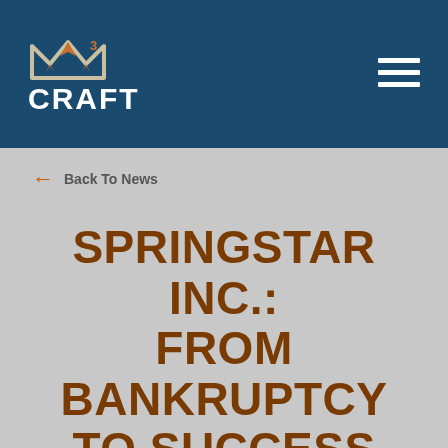[Figure (logo): Craft3 logo with stylized M-shaped icon above the text CRAFT and superscript 3, white on dark blue background]
← Back To News
SPRINGSTAR INC.: FROM BANKRUPTCY TO SUCCESS